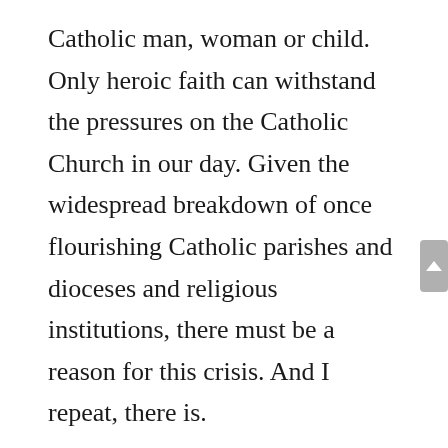Catholic man, woman or child. Only heroic faith can withstand the pressures on the Catholic Church in our day. Given the widespread breakdown of once flourishing Catholic parishes and dioceses and religious institutions, there must be a reason for this crisis. And I repeat, there is.
Weakening of faith produces weakening of commitment in the priesthood, in religious life, in marriage, in the family, in the laity and in all of Catholic society. As we see faith deteriorating all around us, we need to ask